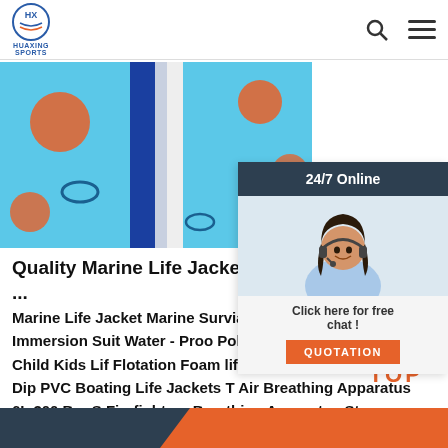HUAXING SPORTS
[Figure (photo): Close-up photo of a life jacket with blue, white, and orange colors]
[Figure (photo): 24/7 Online chat widget with a woman wearing a headset]
Quality Marine Life Jacket & Water Sp Jacket ...
Marine Life Jacket Marine Survial Suit M Insulated Immersion Suit Water - Proo Polyester Oxford SOLAS Child Kids Lif Flotation Foam lifevest Adult Seahors Vinyl - Dip PVC Boating Life Jackets T Air Breathing Apparatus 6L 300 Bar S Firefighters Breathing Apparatus Stee
Get Price
[Figure (other): TOP button with orange chevron dots icon]